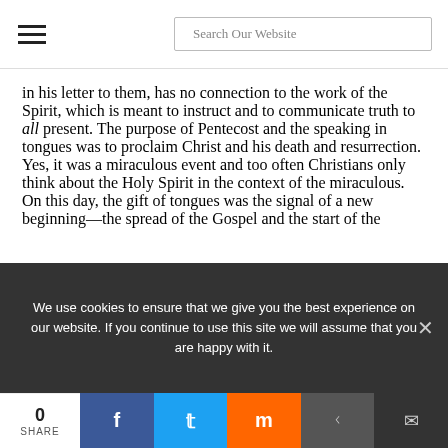Search Our Website
in his letter to them, has no connection to the work of the Spirit, which is meant to instruct and to communicate truth to all present. The purpose of Pentecost and the speaking in tongues was to proclaim Christ and his death and resurrection. Yes, it was a miraculous event and too often Christians only think about the Holy Spirit in the context of the miraculous. On this day, the gift of tongues was the signal of a new beginning—the spread of the Gospel and the start of the
We use cookies to ensure that we give you the best experience on our website. If you continue to use this site we will assume that you are happy with it.
0 SHARE | Facebook | Twitter | Mix | Reddit | Email